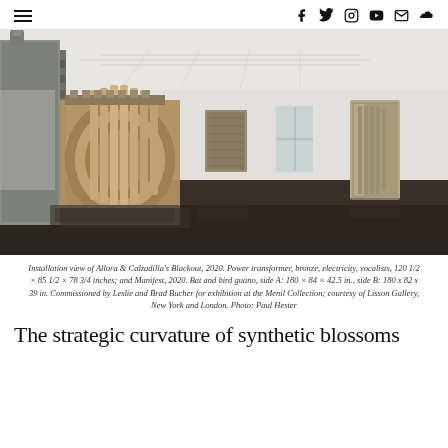Navigation bar with hamburger menu and social icons (Facebook, Twitter, Instagram, YouTube, Email, SoundCloud)
[Figure (photo): Installation view of an art exhibition in a large white gallery space with dark wood floors. A large industrial power transformer is prominently shown in the foreground left, with bronze piping visible. Two additional sculptural works are mounted on the white walls in the background.]
Installation view of Allora & Calzadilla's Blackout, 2020. Power transformer, bronze, electricity, vocalists, 120 1/2 × 85 1/2 × 78 3/4 inches; and Manifest, 2020. Bat and bird guano, side A: 180 × 84 × 42.5 in., side B: 180 x 82 x 39 in. Commissioned by Leslie and Brad Bucher for exhibition at the Menil Collection; courtesy of Lisson Gallery, New York and London. Photo: Paul Hester
The strategic curvature of synthetic blossoms